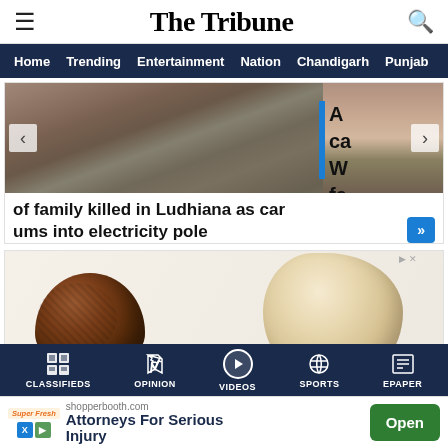The Tribune
Home | Trending | Entertainment | Nation | Chandigarh | Punjab
[Figure (photo): News slider showing rubble/disaster scene image with left and right navigation arrows. Blue vertical accent bar on right side with partial headline letters A, Ca, W, fa visible.]
of family killed in Ludhiana as car ums into electricity pole
[Figure (photo): Advertisement image showing two fruits (salak/snake fruit - one dark brown scaly, one pale/cream colored) on white background]
CLASSIFIEDS | OPINION | VIDEOS | SPORTS | EPAPER
shopperbooth.com Attorneys For Serious Injury